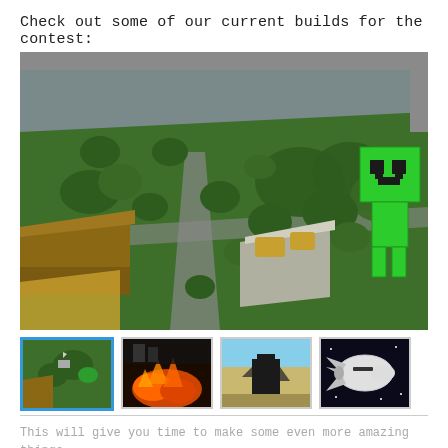Check out some of our current builds for the contest:
[Figure (screenshot): Aerial/isometric view of a Minecraft build showing a green landscape with trees, buildings, paths, and a large Creeper character on the right side.]
[Figure (screenshot): Thumbnail 1: Aerial view of Minecraft green landscape (selected/highlighted with blue border)]
[Figure (screenshot): Thumbnail 2: Dark Minecraft scene with orange lava/fire]
[Figure (screenshot): Thumbnail 3: Minecraft scene with a dark figure on sandy ground]
[Figure (screenshot): Thumbnail 4: Space shuttle image against dark sky]
This will give you time to make some even more amazing things, and I'm looking forward to some really spectacular entries!